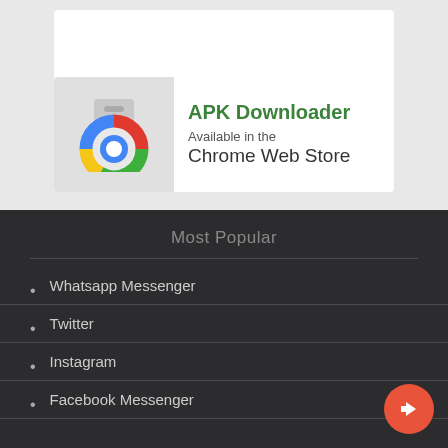[Figure (screenshot): White box placeholder at top of gray section]
[Figure (logo): APK Downloader Chrome Web Store banner with Chrome browser logo icon, green bold text 'APK Downloader', gray text 'Available in the', dark text 'Chrome Web Store']
Most Popular
Whatsapp Messenger
Twitter
Instagram
Facebook Messenger